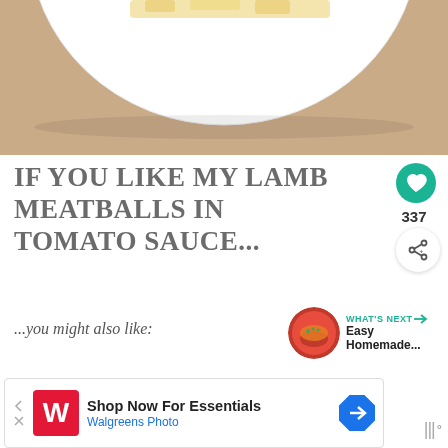[Figure (photo): Partial view of a white plate on a beige/tan fabric surface, showing the bottom curve of the plate with food visible at top]
IF YOU LIKE MY LAMB MEATBALLS IN TOMATO SAUCE...
...you might also like:
[Figure (infographic): What's Next panel with thumbnail of tomato soup/sauce dish and text 'WHAT'S NEXT → Easy Homemade...']
[Figure (infographic): Green heart/like button showing 337 likes, and a share button]
[Figure (infographic): Advertisement banner: Shop Now For Essentials - Walgreens Photo, with Walgreens logo and navigation arrow icon]